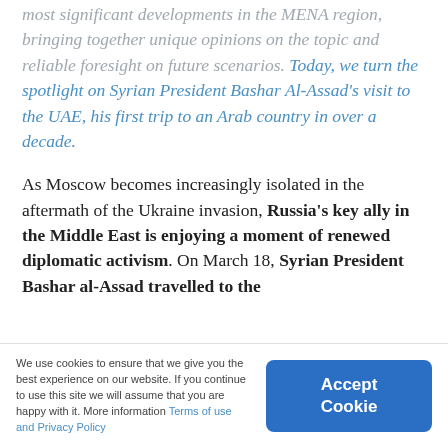most significant developments in the MENA region, bringing together unique opinions on the topic and reliable foresight on future scenarios. Today, we turn the spotlight on Syrian President Bashar Al-Assad's visit to the UAE, his first trip to an Arab country in over a decade.
As Moscow becomes increasingly isolated in the aftermath of the Ukraine invasion, Russia's key ally in the Middle East is enjoying a moment of renewed diplomatic activism. On March 18, Syrian President Bashar al-Assad travelled to the
We use cookies to ensure that we give you the best experience on our website. If you continue to use this site we will assume that you are happy with it. More information Terms of use and Privacy Policy